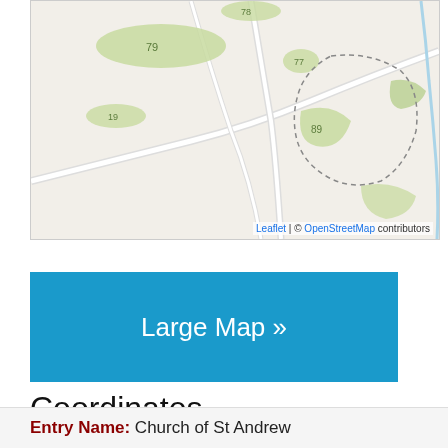[Figure (map): OpenStreetMap tile showing a rural area with green fields/parcels, roads, and a dotted boundary outline. Fields labeled 79, 78, 89, 77, etc.]
Leaflet | © OpenStreetMap contributors
Large Map »
Coordinates
Latitude: 53.4334 / 53°26'0"N
Longitude: -0.231 / 0°13'51"W
OS Eastings: 517622
OS Northings: 394413
OS Grid: TF176944
Mapcode National: GBR VXTQ.SY
Mapcode Global: WHHJ9.FY7S
Plus Code: 9C5XCQM9+9J
Entry Name: Church of St Andrew